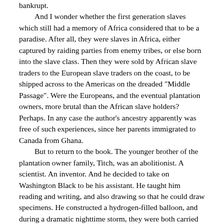bankrupt.
    And I wonder whether the first generation slaves which still had a memory of Africa considered that to be a paradise. After all, they were slaves in Africa, either captured by raiding parties from enemy tribes, or else born into the slave class. Then they were sold by African slave traders to the European slave traders on the coast, to be shipped across to the Americas on the dreaded "Middle Passage". Were the Europeans, and the eventual plantation owners, more brutal than the African slave holders? Perhaps. In any case the author's ancestry apparently was free of such experiences, since her parents immigrated to Canada from Ghana.
    But to return to the book. The younger brother of the plantation owner family, Titch, was an abolitionist. A scientist. An inventor. And he decided to take on Washington Black to be his assistant. He taught him reading and writing, and also drawing so that he could draw specimens. He constructed a hydrogen-filled balloon, and during a dramatic nighttime storm, they were both carried away in the balloon to eventually crash into the rigging of a passing ship.